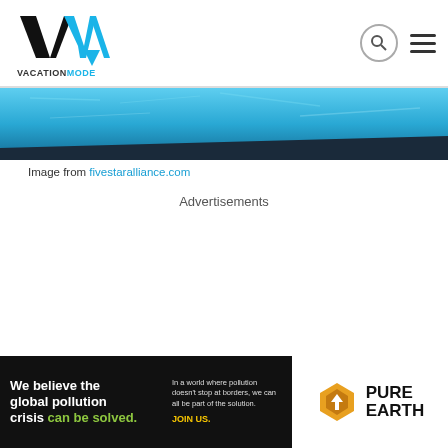VACATIONMODE logo with search and menu icons
[Figure (photo): Partial view of a blue swimming pool with dark edge trim]
Image from fivestaralliance.com
Advertisements
[Figure (other): Pure Earth advertisement banner: 'We believe the global pollution crisis can be solved. In a world where pollution doesn't stop at borders, we can all be part of the solution. JOIN US.' with Pure Earth logo]